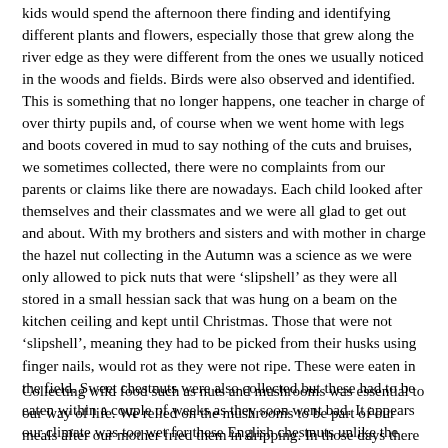kids would spend the afternoon there finding and identifying different plants and flowers, especially those that grew along the river edge as they were different from the ones we usually noticed in the woods and fields. Birds were also observed and identified. This is something that no longer happens, one teacher in charge of over thirty pupils and, of course when we went home with legs and boots covered in mud to say nothing of the cuts and bruises, we sometimes collected, there were no complaints from our parents or claims like there are nowadays. Each child looked after themselves and their classmates and we were all glad to get out and about. With my brothers and sisters and with mother in charge the hazel nut collecting in the Autumn was a science as we were only allowed to pick nuts that were 'slipshell' as they were all stored in a small hessian sack that was hung on a beam on the kitchen ceiling and kept until Christmas. Those that were not 'slipshell', meaning they had to be picked from their husks using finger nails, would rot as they were not ripe. These were eaten in the field. Sweet chestnuts were also collected but these had to be eaten within a couple of weeks as they soon went bad. It appears our climate was too wet for these English chestnuts unlike the Spanish variety which would keep for months.
Collecting wild food such as nuts and mushrooms was essential to our way of life. We relied on the mushrooms to be part of our meals after our mother fried them in dripping. In those days there